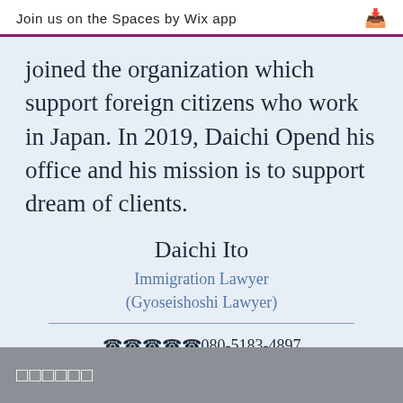Join us on the Spaces by Wix app
joined the organization which support foreign citizens who work in Japan. In 2019, Daichi Opend his office and his mission is to support dream of clients.
Daichi Ito
Immigration Lawyer
(Gyoseishoshi Lawyer)
☎️📞📱📲☎️080-5183-4897
daichiito@kamalegal.com
□□□□□□